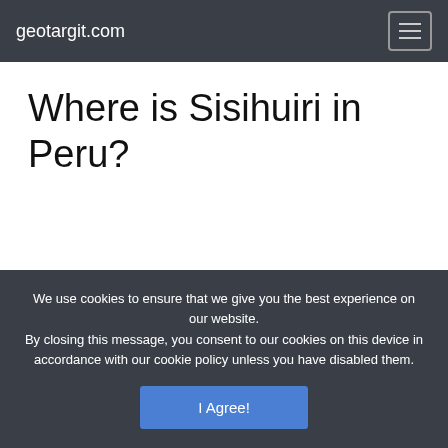geotargit.com
Where is Sisihuiri in Peru?
We use cookies to ensure that we give you the best experience on our website. By closing this message, you consent to our cookies on this device in accordance with our cookie policy unless you have disabled them.
I Agree!